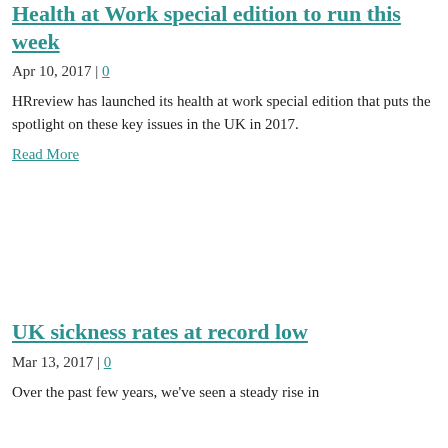Health at Work special edition to run this week
Apr 10, 2017 | 0
HRreview has launched its health at work special edition that puts the spotlight on these key issues in the UK in 2017.
Read More
UK sickness rates at record low
Mar 13, 2017 | 0
Over the past few years, we've seen a steady rise in